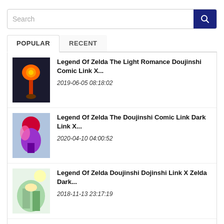Search
POPULAR | RECENT
Legend Of Zelda The Light Romance Doujinshi Comic Link X... 2019-06-05 08:18:02
Legend Of Zelda The Doujinshi Comic Link Dark Link X... 2020-04-10 04:00:52
Legend Of Zelda Doujinshi Dojinshi Link X Zelda Dark... 2018-11-13 23:17:19
Legend Of Zelda Breath Of The Wild Steel Book Container...